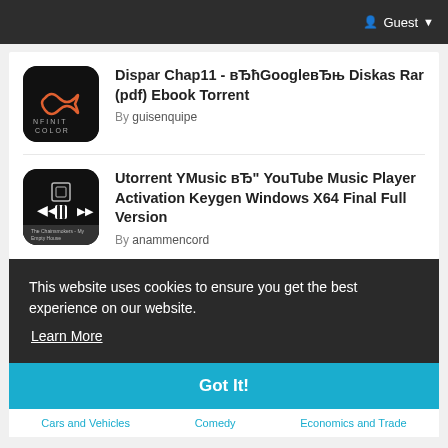Guest
Dispar Chap11 - вЂћGoogleвЂњ Diskas Rar (pdf) Ebook Torrent
By guisenquipe
Utorrent YMusic вЂ" YouTube Music Player Activation Keygen Windows X64 Final Full Version
By anammencord
This website uses cookies to ensure you get the best experience on our website.
Learn More
Got It!
Cars and Vehicles   Comedy   Economics and Trade